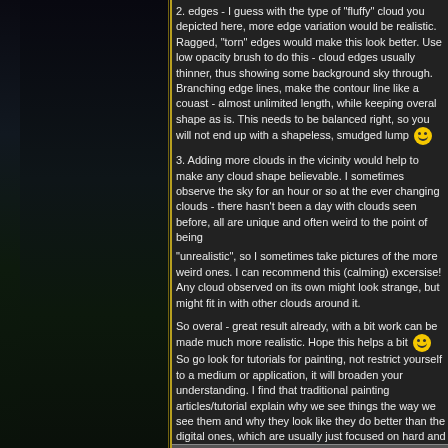2. edges - I guess with the type of "fluffy" cloud you depicted here, more edge variation would be realistic. Ragged, "torn" edges would make this look better. Use low opacity brush to do this - cloud edges usually thinner, thus showing some background sky through. Branching edge lines, make the contour line like a couast - almost unlimited length, while keeping overal shape as is. This needs to be balanced right, so you will not end up with a shapeless, smudged lump [smiley]
3. Adding more clouds in the vicinity would help to make any cloud shape believable. I sometimes observe the sky for an hour or so at the ever changing clouds - there hasn't been a day with clouds seen before, all are unique and often weird to the point of being
"unrealistic", so I sometimes take pictures of the more weird ones. I can recommend this (calming) excersise! Any cloud observed on its own might look strange, but might fit in with other clouds around it.
So overal - great result already, with a bit work can be made much more realistic. Hope this helps a bit [smiley] So go look for tutorials for painting, not restrict yourself to a medium or application, it will broaden your understanding. I find that traditional painting articles/tutorial explain why we see things the way we see them and why they look like they do better than the digital ones, which are usually just focused on hard and soft brush tricks.
Good luck and keep at it!!